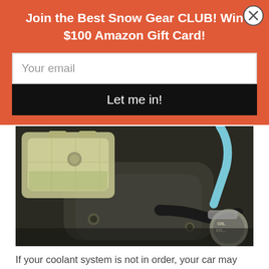Join the Best Snow Gear CLUB! Win $100 Amazon Gift Card!
[Figure (screenshot): Email input field with placeholder 'Your email' and a black 'Let me in!' submit button on orange background, with a close (X) button in the top right corner]
[Figure (photo): Close-up photo of a car engine bay showing a coolant reservoir/overflow tank, engine cover, and oil cap visible in the lower right]
If your coolant system is not in order, your car may end up overheating since it will require greater power to handle freezing temperatures. Inspect the system, have it flushed and refilled or replaced altogether if this is